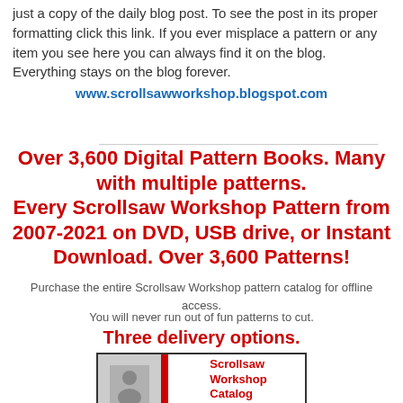just a copy of the daily blog post. To see the post in its proper formatting click this link. If you ever misplace a pattern or any item you see here you can always find it on the blog. Everything stays on the blog forever.
www.scrollsawworkshop.blogspot.com
Over 3,600 Digital Pattern Books. Many with multiple patterns. Every Scrollsaw Workshop Pattern from 2007-2021 on DVD, USB drive, or Instant Download. Over 3,600 Patterns!
Purchase the entire Scrollsaw Workshop pattern catalog for offline access.
You will never run out of fun patterns to cut.
Three delivery options.
[Figure (photo): Scrollsaw Workshop Catalog cover image showing a person and red/white graphic with the text 'Scrollsaw Workshop Catalog']